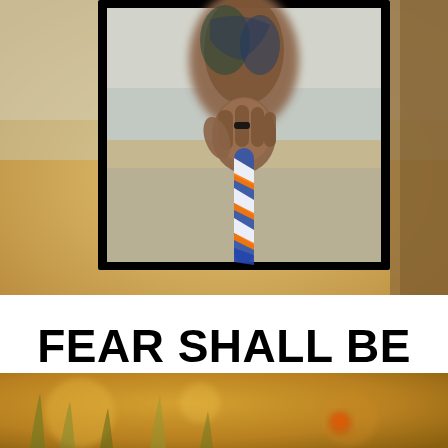[Figure (photo): A person's tattooed hand gripping a braided blue, white, and orange rope/strap, shown within a black-bordered frame. Background is blurred warm golden tones of an outdoor field.]
FEAR SHALL BE CLAMED
[Figure (photo): A warm golden-toned outdoor field scene with grass and blurred bokeh lighting at the bottom of the page.]